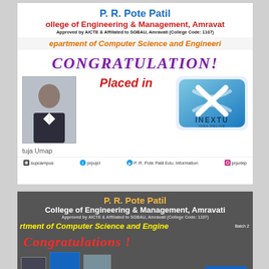[Figure (infographic): Placement congratulations card 1 for P.R. Pote Patil College - student placed in INEXTU. Shows college header, department, CONGRATULATION! text, student photo, Placed in text, INEXTU logo, student name 'tuja Umap', and social media footer icons.]
[Figure (infographic): Placement congratulations card 2 for P.R. Pote Patil College - student placed in smartDa. Shows college header on dark background, department in yellow, Congratulations! text in red, student photos, Placed in text, smartDa logo partial.]